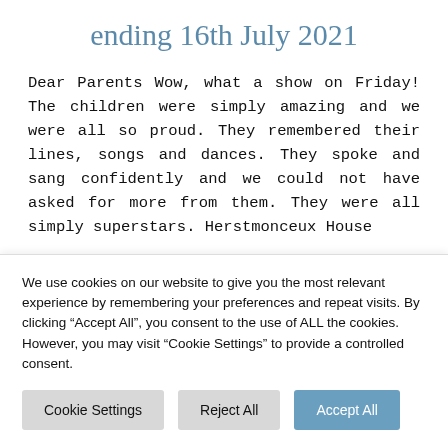ending 16th July 2021
Dear Parents Wow, what a show on Friday! The children were simply amazing and we were all so proud. They remembered their lines, songs and dances. They spoke and sang confidently and we could not have asked for more from them. They were all simply superstars. Herstmonceux House
We use cookies on our website to give you the most relevant experience by remembering your preferences and repeat visits. By clicking “Accept All”, you consent to the use of ALL the cookies. However, you may visit "Cookie Settings" to provide a controlled consent.